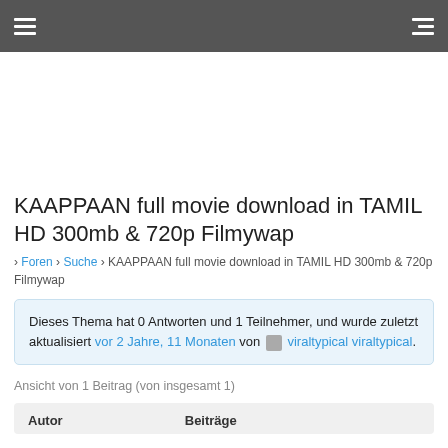Navigation bar with hamburger menu and list icon
KAAPPAAN full movie download in TAMIL HD 300mb & 720p Filmywap
› Foren › Suche › KAAPPAAN full movie download in TAMIL HD 300mb & 720p Filmywap
Dieses Thema hat 0 Antworten und 1 Teilnehmer, und wurde zuletzt aktualisiert vor 2 Jahre, 11 Monaten von viraltypical viraltypical.
Ansicht von 1 Beitrag (von insgesamt 1)
| Autor | Beiträge |
| --- | --- |